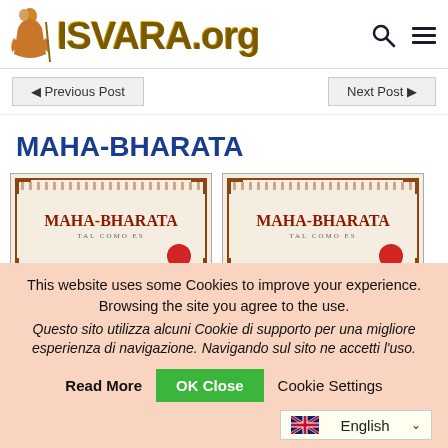ISVARA.org
◀ Previous Post    Next Post ▶
MAHA-BHARATA
[Figure (photo): Two book covers of MAHA-BHARATA with ornate borders and red wax seal]
This website uses some Cookies to improve your experience. Browsing the site you agree to the use.
Questo sito utilizza alcuni Cookie di supporto per una migliore esperienza di navigazione. Navigando sul sito ne accetti l'uso.
Read More   OK Close   Cookie Settings
English